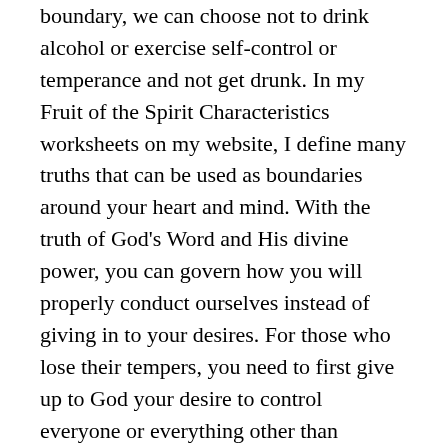boundary, we can choose not to drink alcohol or exercise self-control or temperance and not get drunk. In my Fruit of the Spirit Characteristics worksheets on my website, I define many truths that can be used as boundaries around your heart and mind. With the truth of God's Word and His divine power, you can govern how you will properly conduct ourselves instead of giving in to your desires. For those who lose their tempers, you need to first give up to God your desire to control everyone or everything other than yourself.
Where does self-control come from?
Self-control is produced by the Spirit of God as explained in Galatians 5:22. A fruit grows from